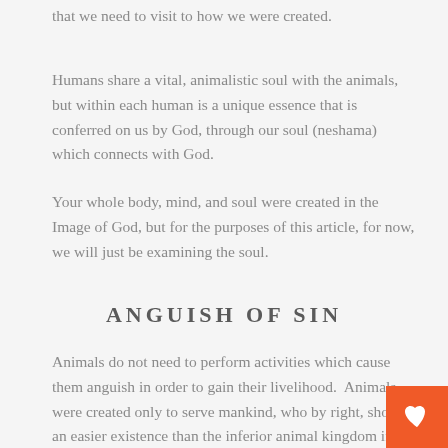that we need to visit to how we were created.
Humans share a vital, animalistic soul with the animals, but within each human is a unique essence that is conferred on us by God, through our soul (neshama) which connects with God.
Your whole body, mind, and soul were created in the Image of God, but for the purposes of this article, for now, we will just be examining the soul.
ANGUISH OF SIN
Animals do not need to perform activities which cause them anguish in order to gain their livelihood.  Animals were created only to serve mankind, who by right, should an easier existence than the inferior animal kingdom in acquiring a livelihood.  But humans must use their whole body, soul, and intellect to secure subsistence.